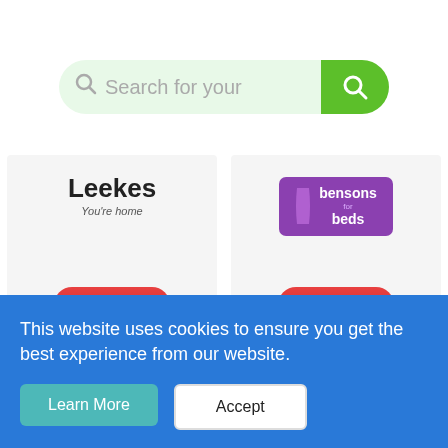[Figure (screenshot): Search bar with light green background input field showing 'Search for your' text with gray search icon, and a green rounded button with white search icon on the right]
[Figure (logo): Leekes logo with text 'Leekes You're home' and a red rounded rectangle badge showing 'SAVE 50%']
[Figure (logo): Bensons for Beds logo in purple rounded rectangle with a red rounded rectangle badge showing 'SAVE 20%']
This website uses cookies to ensure you get the best experience from our website.
Learn More
Accept